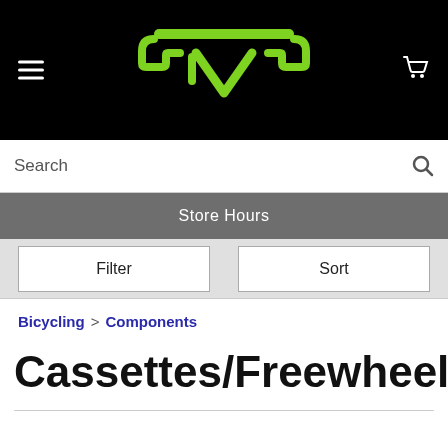[Figure (logo): JVF logo in green on black background, stylized letters with wings/arrows]
Search
Store Hours
Filter
Sort
Bicycling > Components
Cassettes/Freewheels